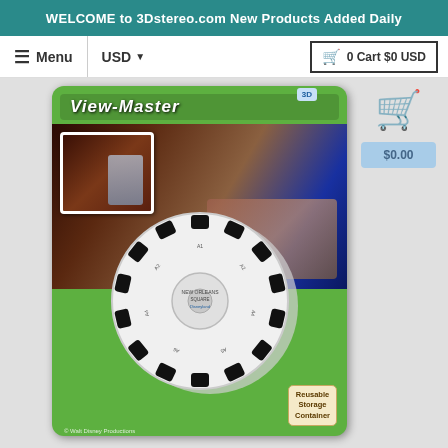WELCOME to 3Dstereo.com New Products Added Daily
≡ Menu | USD ▾ | 🛒 0 Cart $0 USD
[Figure (photo): View-Master product package showing a green card with 'View-Master' text, a restaurant scene photo with an inset pirate figure, and a white View-Master reel with black image slots. A 'Reusable Storage Container' label is visible at the bottom right.]